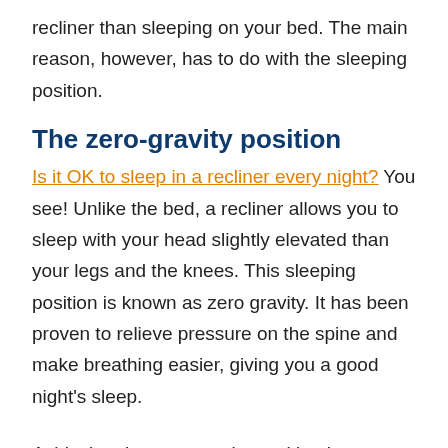recliner than sleeping on your bed. The main reason, however, has to do with the sleeping position.
The zero-gravity position
Is it OK to sleep in a recliner every night? You see! Unlike the bed, a recliner allows you to sleep with your head slightly elevated than your legs and the knees. This sleeping position is known as zero gravity. It has been proven to relieve pressure on the spine and make breathing easier, giving you a good night’s sleep.
Achieving the zero-gravity position is problematic on a flatbed, even with pillows. And if you are lucky